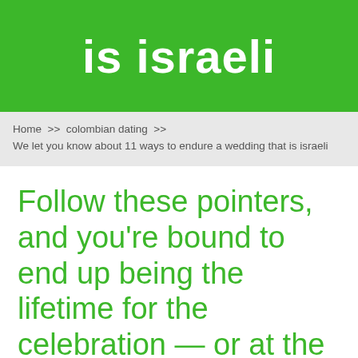is israeli
Home >> colombian dating >> We let you know about 11 ways to endure a wedding that is israeli
Follow these pointers, and you're bound to end up being the lifetime for the celebration — or at the least enjoy the party of a very long time — as